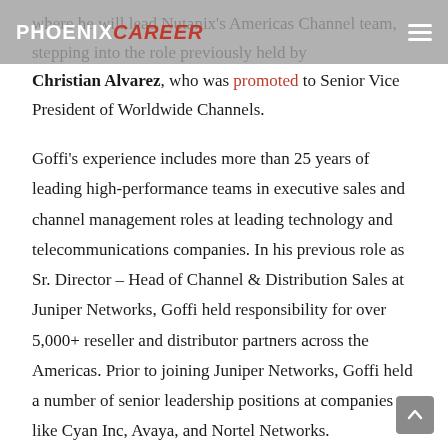PHOENIX CAREER
where he will lead Nutanix's Americas Channel team, stepping into the role previously held by Christian Alvarez, who was promoted to Senior Vice President of Worldwide Channels.
Goffi's experience includes more than 25 years of leading high-performance teams in executive sales and channel management roles at leading technology and telecommunications companies. In his previous role as Sr. Director – Head of Channel & Distribution Sales at Juniper Networks, Goffi held responsibility for over 5,000+ reseller and distributor partners across the Americas. Prior to joining Juniper Networks, Goffi held a number of senior leadership positions at companies like Cyan Inc, Avaya, and Nortel Networks.